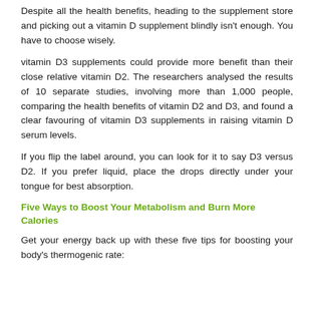Despite all the health benefits, heading to the supplement store and picking out a vitamin D supplement blindly isn't enough. You have to choose wisely.
vitamin D3 supplements could provide more benefit than their close relative vitamin D2. The researchers analysed the results of 10 separate studies, involving more than 1,000 people, comparing the health benefits of vitamin D2 and D3, and found a clear favouring of vitamin D3 supplements in raising vitamin D serum levels.
If you flip the label around, you can look for it to say D3 versus D2. If you prefer liquid, place the drops directly under your tongue for best absorption.
Five Ways to Boost Your Metabolism and Burn More Calories
Get your energy back up with these five tips for boosting your body's thermogenic rate: